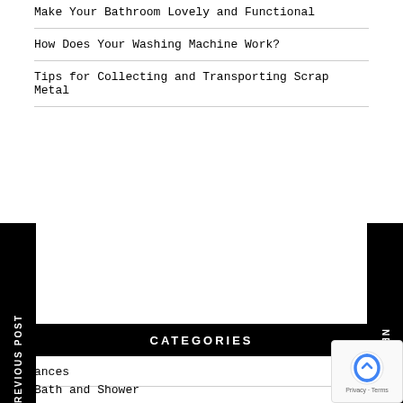Make Your Bathroom Lovely and Functional
How Does Your Washing Machine Work?
Tips for Collecting and Transporting Scrap Metal
CATEGORIES
ances
Bath and Shower
Cleaning Tips and Tools
DIY